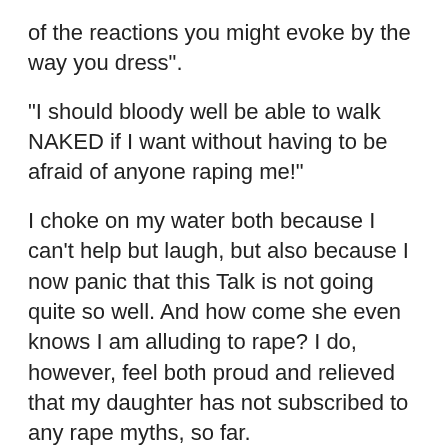of the reactions you might evoke by the way you dress".
“I should bloody well be able to walk NAKED if I want without having to be afraid of anyone raping me!”
I choke on my water both because I can’t help but laugh, but also because I now panic that this Talk is not going quite so well. And how come she even knows I am alluding to rape? I do, however, feel both proud and relieved that my daughter has not subscribed to any rape myths, so far.
This is when my husband steps in. “Yes, Darling, that would be great, but fact is…”. I leave the room and go upstairs to shower. I chicken out from one of the most important Talks a mother has to have with her daughter and let her dad take care of it. Might as well, maybe he